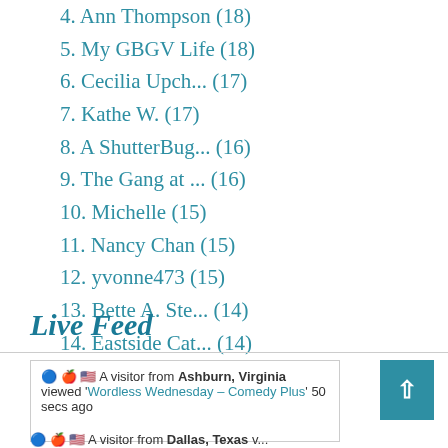4. Ann Thompson (18)
5. My GBGV Life (18)
6. Cecilia Upch... (17)
7. Kathe W. (17)
8. A ShutterBug... (16)
9. The Gang at ... (16)
10. Michelle (15)
11. Nancy Chan (15)
12. yvonne473 (15)
13. Bette A. Ste... (14)
14. Eastside Cat... (14)
15. Brian (13)
Live Feed
A visitor from Ashburn, Virginia viewed 'Wordless Wednesday – Comedy Plus' 50 secs ago